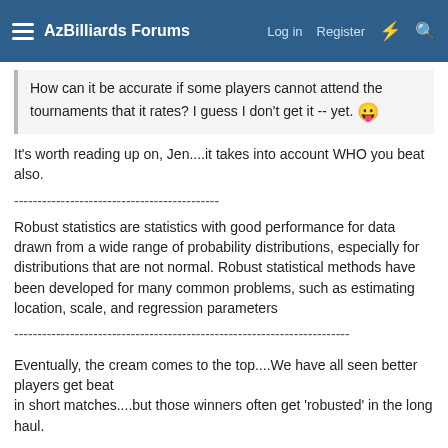AzBilliards Forums  Log in  Register
How can it be accurate if some players cannot attend the tournaments that it rates? I guess I don't get it -- yet. 😛
It's worth reading up on, Jen....it takes into account WHO you beat also.
--------------------------------------------
Robust statistics are statistics with good performance for data drawn from a wide range of probability distributions, especially for distributions that are not normal. Robust statistical methods have been developed for many common problems, such as estimating location, scale, and regression parameters
------------------------------------------------------------------------
Eventually, the cream comes to the top....We have all seen better players get beat
in short matches....but those winners often get 'robusted' in the long haul.